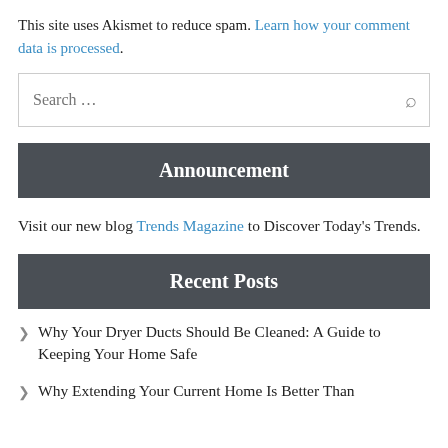This site uses Akismet to reduce spam. Learn how your comment data is processed.
Search …
Announcement
Visit our new blog Trends Magazine to Discover Today's Trends.
Recent Posts
Why Your Dryer Ducts Should Be Cleaned: A Guide to Keeping Your Home Safe
Why Extending Your Current Home Is Better Than